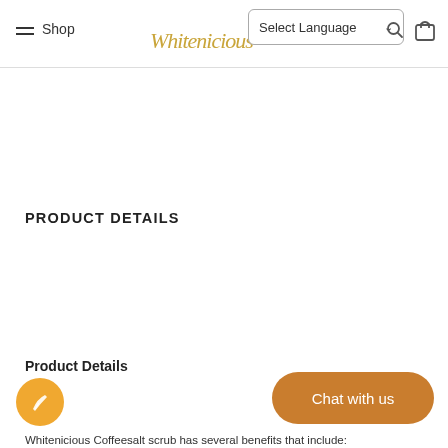Shop | Whitenicious | Select Language
PRODUCT DETAILS
Product Details
Whitenicious Coffeesalt scrub has several benefits that include: